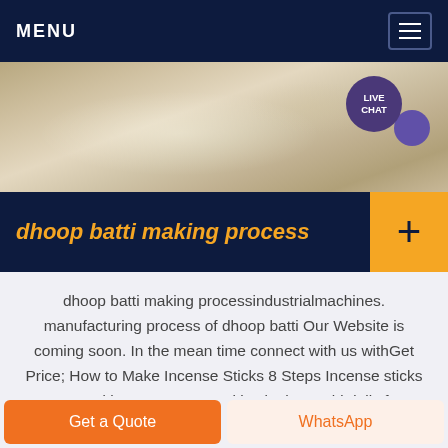MENU
[Figure (photo): Close-up textured sandy/grainy material surface, beige and tan tones, with a live chat bubble in the top right corner]
dhoop batti making process
dhoop batti making processindustrialmachines. manufacturing process of dhoop batti Our Website is coming soon. In the mean time connect with us withGet Price; How to Make Incense Sticks 8 Steps Incense sticks are used by many communities in the world daily for performing
Get a Quote
WhatsApp